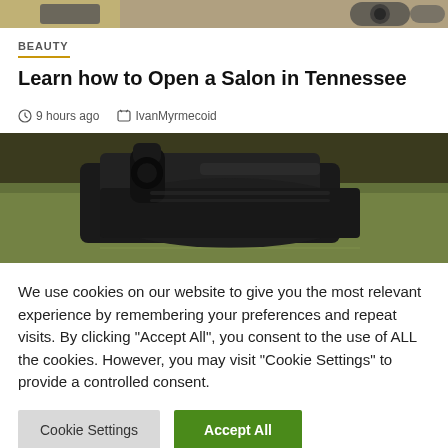[Figure (photo): Top portion of a photo showing bicycle/camera equipment on a table]
BEAUTY
Learn how to Open a Salon in Tennessee
9 hours ago   IvanMyrmecoid
[Figure (photo): Close-up photo of a vacuum cleaner head/brush on a green surface]
We use cookies on our website to give you the most relevant experience by remembering your preferences and repeat visits. By clicking "Accept All", you consent to the use of ALL the cookies. However, you may visit "Cookie Settings" to provide a controlled consent.
Cookie Settings   Accept All